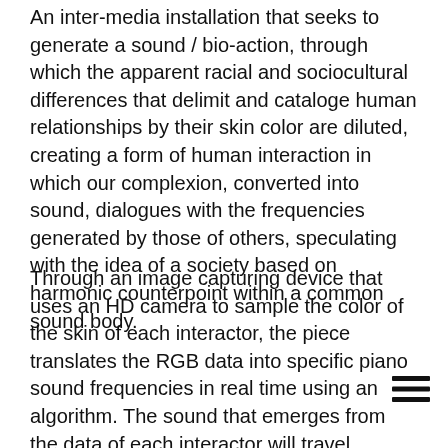An inter-media installation that seeks to generate a sound / bio-action, through which the apparent racial and sociocultural differences that delimit and cataloge human relationships by their skin color are diluted, creating a form of human interaction in which our complexion, converted into sound, dialogues with the frequencies generated by those of others, speculating with the idea of a society based on harmonic counterpoint within a common sound body.
Through an image capturing device that uses an HD camera to sample the color of the skin of each interactor, the piece translates the RGB data into specific piano sound frequencies in real time using an algorithm. The sound that emerges from the data of each interactor will travel through the space for a certain period of time, moving from speaker to speaker, generating, along with the frequencies of